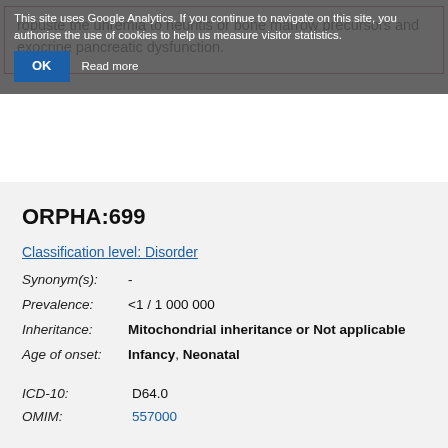This site uses Google Analytics. If you continue to navigate on this site, you authorise the use of cookies to help us measure visitor statistics.
robuste the uhremia to neuritis or bone marrow precursors and exocrine pancreatic dysfunction.
ORPHA:699
Classification level: Disorder
Synonym(s):  -
Prevalence:  <1 / 1 000 000
Inheritance:  Mitochondrial inheritance or Not applicable
Age of onset:  Infancy, Neonatal
ICD-10:  D64.0
OMIM:  557000